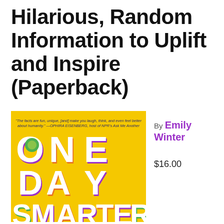Hilarious, Random Information to Uplift and Inspire (Paperback)
[Figure (illustration): Book cover of 'One Day Smarter' by Emily Winter. Yellow background with large bold text 'ONE DAY SMARTER' in white letters with purple and orange drop shadows. A quote at the top reads: 'The facts are fun, unique, [and] make you laugh, think, and even feel better about humanity.' —OPHIRA EISENBERG, host of NPR's Ask Me Another. There is a green circular element in the O of ONE.]
By Emily Winter
$16.00